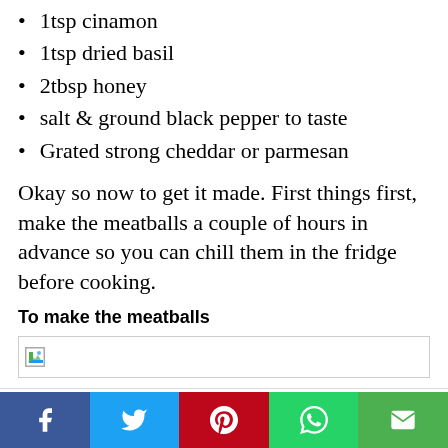1tsp cinamon
1tsp dried basil
2tbsp honey
salt & ground black pepper to taste
Grated strong cheddar or parmesan
Okay so now to get it made. First things first, make the meatballs a couple of hours in advance so you can chill them in the fridge before cooking.
To make the meatballs
[Figure (photo): Broken image placeholder]
This website uses cookies to improve your experience. We'll assume you're ok with this, but you can opt-out if you wish.
Social sharing bar: Facebook, Twitter, Pinterest, WhatsApp, Email